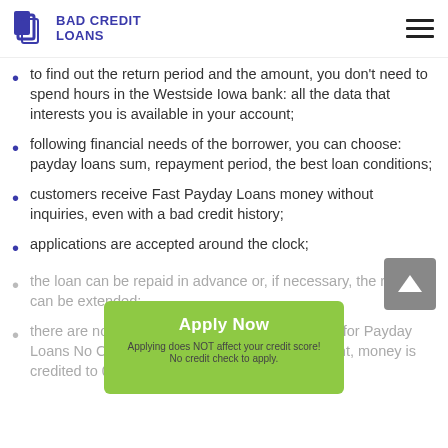BAD CREDIT LOANS
to find out the return period and the amount, you don't need to spend hours in the Westside Iowa bank: all the data that interests you is available in your account;
following financial needs of the borrower, you can choose: payday loans sum, repayment period, the best loan conditions;
customers receive Fast Payday Loans money without inquiries, even with a bad credit history;
applications are accepted around the clock;
the loan can be repaid in advance or, if necessary, the return can be extended;
there are no hidden commissions and payments for Payday Loans No Credit Check, and with early repayment, money is credited to 0%;